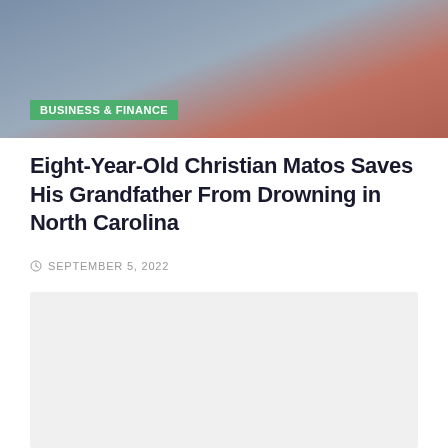[Figure (photo): Two people visible, one wearing blue shirt with cross necklace, another in red]
BUSINESS & FINANCE
Eight-Year-Old Christian Matos Saves His Grandfather From Drowning in North Carolina
SEPTEMBER 5, 2022
[Figure (photo): Light gray placeholder image area]